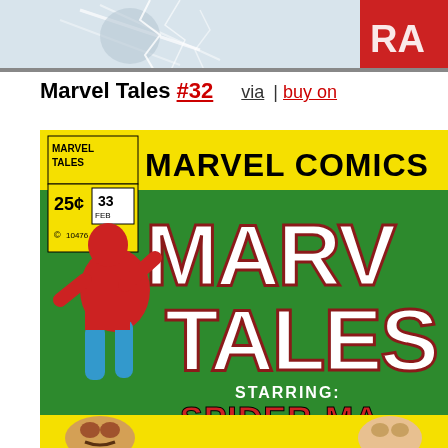[Figure (photo): Top portion of a comic book cover showing partial figures and the letters 'RAM' visible in the upper right corner, with action scene artwork]
Marvel Tales #32   via | buy on
[Figure (photo): Marvel Tales #33 comic book cover featuring Spider-Man swinging, with 'MARVEL COMICS' at top, price 25 cents, issue 33, February. Text reads 'MARVEL TALES STARRING: SPIDER-MAN'. Bottom shows character faces.]